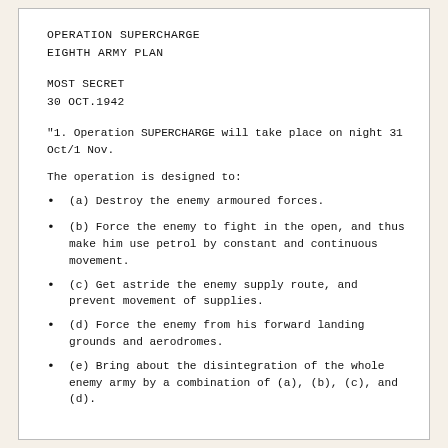OPERATION SUPERCHARGE
EIGHTH ARMY PLAN
MOST SECRET
30 OCT.1942
"1. Operation SUPERCHARGE will take place on night 31 Oct/1 Nov.
The operation is designed to:
(a) Destroy the enemy armoured forces.
(b) Force the enemy to fight in the open, and thus make him use petrol by constant and continuous movement.
(c) Get astride the enemy supply route, and prevent movement of supplies.
(d) Force the enemy from his forward landing grounds and aerodromes.
(e) Bring about the disintegration of the whole enemy army by a combination of (a), (b), (c), and (d).